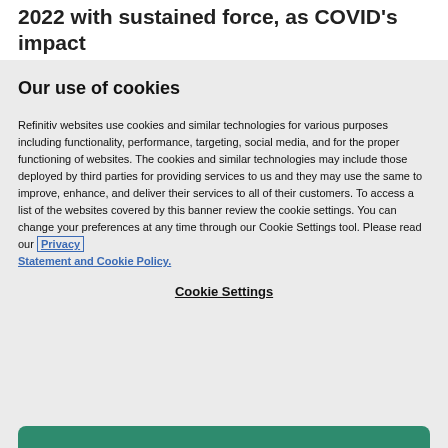2022 with sustained force, as COVID’s impact
Our use of cookies
Refinitiv websites use cookies and similar technologies for various purposes including functionality, performance, targeting, social media, and for the proper functioning of websites. The cookies and similar technologies may include those deployed by third parties for providing services to us and they may use the same to improve, enhance, and deliver their services to all of their customers. To access a list of the websites covered by this banner review the cookie settings. You can change your preferences at any time through our Cookie Settings tool. Please read our Privacy Statement and Cookie Policy.
Cookie Settings